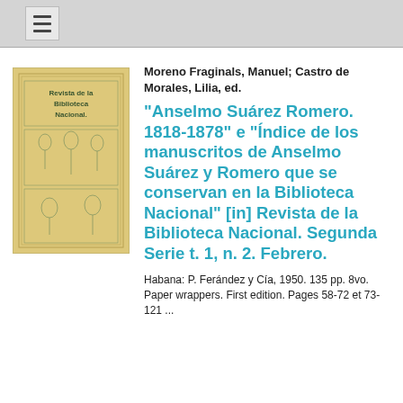☰
[Figure (photo): Book cover image of 'Revista de la Biblioteca Nacional' with illustrated figures, printed on tan/beige paper]
Moreno Fraginals, Manuel; Castro de Morales, Lilia, ed.
"Anselmo Suárez Romero. 1818-1878" e "Índice de los manuscritos de Anselmo Suárez y Romero que se conservan en la Biblioteca Nacional" [in] Revista de la Biblioteca Nacional. Segunda Serie t. 1, n. 2. Febrero.
Habana: P. Ferández y Cía, 1950. 135 pp. 8vo. Paper wrappers. First edition. Pages 58-72 et 73-121 ...